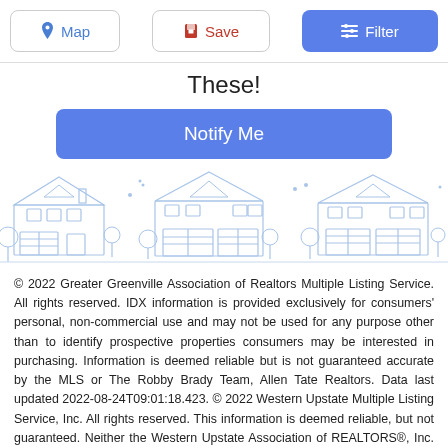Map | Save | Filter
These!
[Figure (other): Blue 'Notify Me' button]
[Figure (illustration): Light blue line illustration of suburban houses with trees and garages]
© 2022 Greater Greenville Association of Realtors Multiple Listing Service. All rights reserved. IDX information is provided exclusively for consumers' personal, non-commercial use and may not be used for any purpose other than to identify prospective properties consumers may be interested in purchasing. Information is deemed reliable but is not guaranteed accurate by the MLS or The Robby Brady Team, Allen Tate Realtors. Data last updated 2022-08-24T09:01:18.423. © 2022 Western Upstate Multiple Listing Service, Inc. All rights reserved. This information is deemed reliable, but not guaranteed. Neither the Western Upstate Association of REALTORS®, Inc. or Western Upstate Multiple Listing Service of South Carolina, Inc., nor the listing broker, nor their agents or